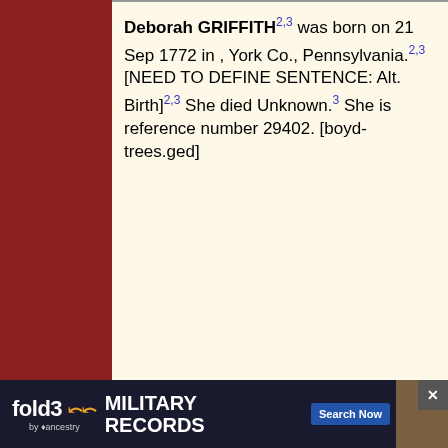Deborah GRIFFITH2,3 was born on 21 Sep 1772 in , York Co., Pennsylvania.2,3 [NEED TO DEFINE SENTENCE: Alt. Birth]2,3 She died Unknown.3 She is reference number 29402. [boyd-trees.ged]
!(1) "York County, Pennsylvania Church Records of the 18th Century," Vol. 3, ed. by Marlene Stewart and F. Edward Wright (1991) p.24. Warrington Monthly Meeting...
[Figure (other): fold3 by Ancestry advertisement banner - MILITARY RECORDS with Search Now button and soldier photo]